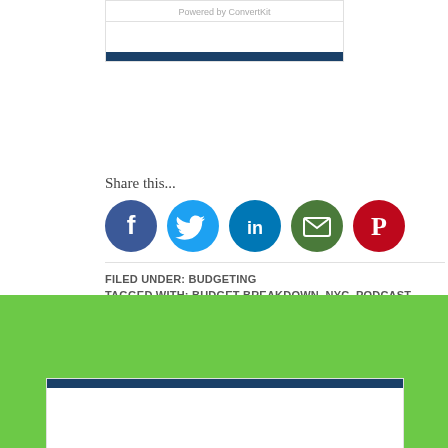Powered by ConvertKit
[Figure (infographic): Row of five social share icon buttons: Facebook (blue circle with f), Twitter (cyan circle with bird), LinkedIn (blue circle with in), Email (green circle with envelope), Pinterest (red circle with P)]
Share this...
FILED UNDER: BUDGETING
TAGGED WITH: BUDGET BREAKDOWN, NYC, PODCAST